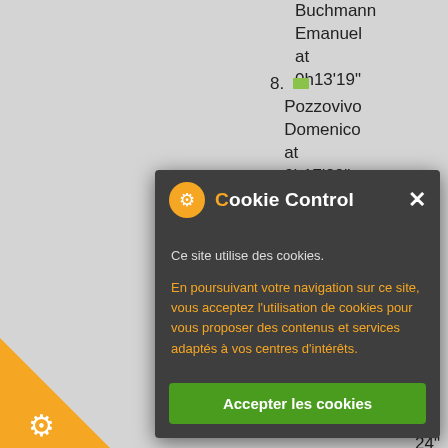Buchmann Emanuel at 0h13'19"
8. Pozzovivo Domenico at 0h17'29"
9. Carthy ... at 0h...54"
...40"
...rde ...ndro
...24"
- 2006
[Figure (screenshot): Cookie Control dialog box with orange gear icon, title 'Cookie Control', close X button, body text in French: 'Ce site utilise des cookies.' and orange text 'En poursuivant votre navigation sur ce site, vous acceptez l’utilisation de cookies pour vous proposer des contenus et services adaptés à vos centres d’intérêts.' and green 'Accepter les cookies' button]
[Figure (logo): Orange triangle with gear icon in bottom-left corner]